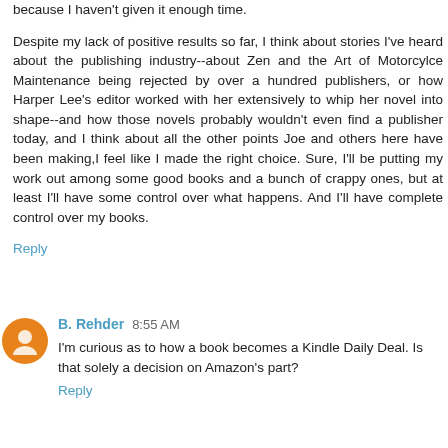because I haven't given it enough time.
Despite my lack of positive results so far, I think about stories I've heard about the publishing industry--about Zen and the Art of Motorcylce Maintenance being rejected by over a hundred publishers, or how Harper Lee's editor worked with her extensively to whip her novel into shape--and how those novels probably wouldn't even find a publisher today, and I think about all the other points Joe and others here have been making,I feel like I made the right choice. Sure, I'll be putting my work out among some good books and a bunch of crappy ones, but at least I'll have some control over what happens. And I'll have complete control over my books.
Reply
B. Rehder 8:55 AM
I'm curious as to how a book becomes a Kindle Daily Deal. Is that solely a decision on Amazon's part?
Reply